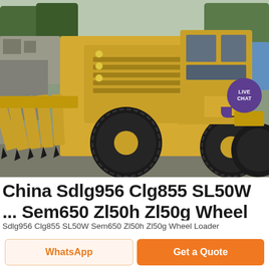[Figure (photo): Yellow wheel loader / motor grader construction machine with ripper attachment on front, large black tires, photographed outdoors on a gravel/dirt surface with trees and blue warehouse in background. A purple 'LIVE CHAT' button overlay is visible in the top-right area of the photo.]
China Sdlg956 Clg855 SL50W ... Sem650 Zl50h Zl50g Wheel
Sdlg956 Clg855 SL50W Sem650 Zl50h Zl50g Wheel Loader